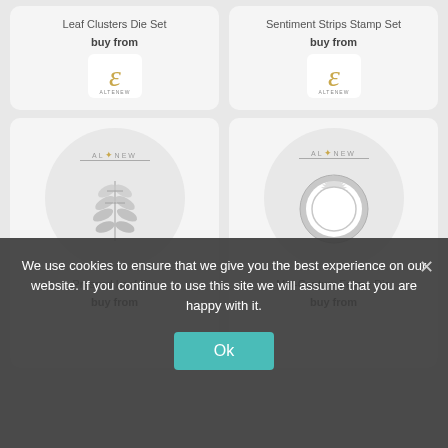Leaf Clusters Die Set
buy from
[Figure (logo): Altenew logo in gold/brown swirling letter]
Sentiment Strips Stamp Set
buy from
[Figure (logo): Altenew logo in gold/brown swirling letter]
[Figure (illustration): Altenew Pressed Leaf Die product image - grey leaf shape on white circle background with Altenew logo]
Pressed Leaf Die
buy from
[Figure (illustration): Altenew Mid-Century Frame Die product image - grey circular sun/gear shape on white circle background with Altenew logo]
Mid-Century Frame Die
buy from
We use cookies to ensure that we give you the best experience on our website. If you continue to use this site we will assume that you are happy with it.